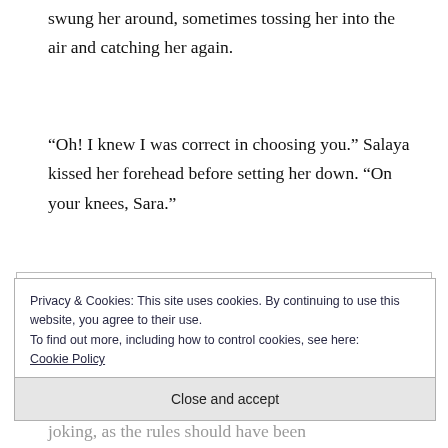swung her around, sometimes tossing her into the air and catching her again.
“Oh! I knew I was correct in choosing you.” Salaya kissed her forehead before setting her down. “On your knees, Sara.”
Sara realized something. “Why can’t
Privacy & Cookies: This site uses cookies. By continuing to use this website, you agree to their use.
To find out more, including how to control cookies, see here:
Cookie Policy
Close and accept
joking, as the rules should have been